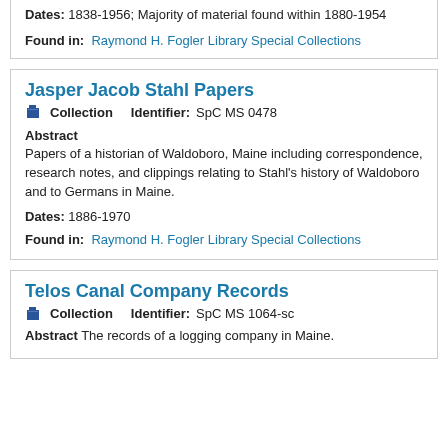Dates: 1838-1956; Majority of material found within 1880-1954
Found in: Raymond H. Fogler Library Special Collections
Jasper Jacob Stahl Papers
Collection   Identifier: SpC MS 0478
Abstract
Papers of a historian of Waldoboro, Maine including correspondence, research notes, and clippings relating to Stahl's history of Waldoboro and to Germans in Maine.
Dates: 1886-1970
Found in: Raymond H. Fogler Library Special Collections
Telos Canal Company Records
Collection   Identifier: SpC MS 1064-sc
Abstract The records of a logging company in Maine.